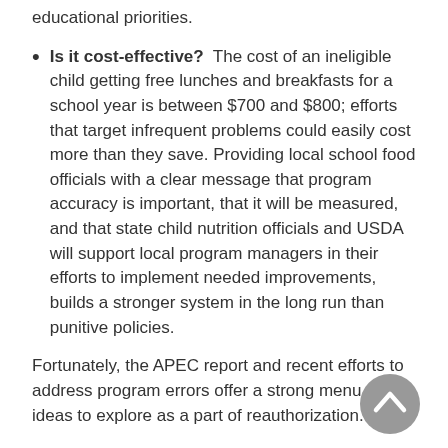educational priorities.
Is it cost-effective? The cost of an ineligible child getting free lunches and breakfasts for a school year is between $700 and $800; efforts that target infrequent problems could easily cost more than they save. Providing local school food officials with a clear message that program accuracy is important, that it will be measured, and that state child nutrition officials and USDA will support local program managers in their efforts to implement needed improvements, builds a stronger system in the long run than punitive policies.
Fortunately, the APEC report and recent efforts to address program errors offer a strong menu of ideas to explore as a part of reauthorization.
Reducing Opportunities for Error in the School Meal Programs